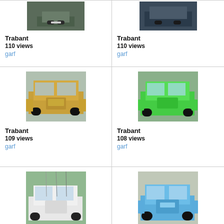[Figure (photo): Partial top view of a dark-colored Trabant car]
Trabant
110 views
garf
[Figure (photo): Partial top view of a Trabant car, dark/blurred background]
Trabant
110 views
garf
[Figure (photo): Yellow/golden Trabant car in a parking lot with flags]
Trabant
109 views
garf
[Figure (photo): Green Trabant car on a road with buildings in background]
Trabant
108 views
garf
[Figure (photo): White/light colored Trabant car on a tree-lined street]
Trabant
108 views
garf
[Figure (photo): Blue Trabant car parked in front of a building]
Trabant
108 views
garf